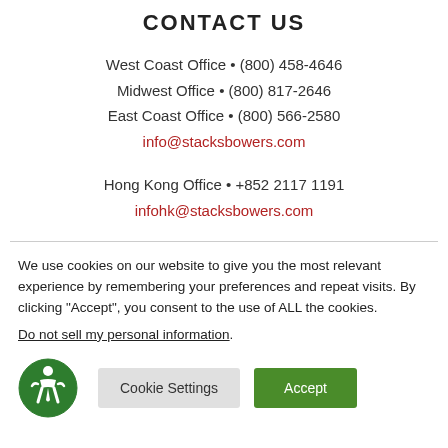CONTACT US
West Coast Office • (800) 458-4646
Midwest Office • (800) 817-2646
East Coast Office • (800) 566-2580
info@stacksbowers.com
Hong Kong Office • +852 2117 1191
infohk@stacksbowers.com
We use cookies on our website to give you the most relevant experience by remembering your preferences and repeat visits. By clicking "Accept", you consent to the use of ALL the cookies.
Do not sell my personal information.